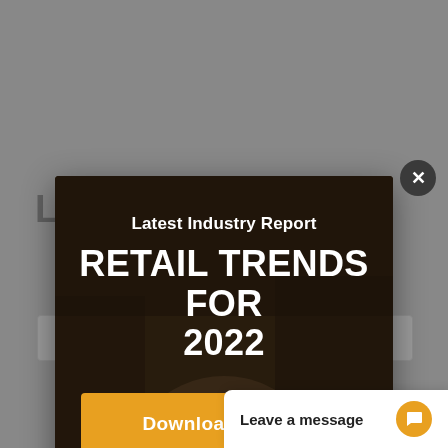[Figure (screenshot): Background web page with a form, dimmed behind a modal overlay]
[Figure (infographic): Modal popup with dark photo background showing hands holding a document/phone, containing promotional text for a retail trends report]
Latest Industry Report
RETAIL TRENDS FOR 2022
Download Report
Powered by Convert Plus
Subject
Message
Leave a message